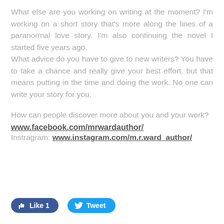What else are you working on writing at the moment? I'm working on a short story that's more along the lines of a paranormal love story. I'm also continuing the novel I started five years ago.
What advice do you have to give to new writers? You have to take a chance and really give your best effort, but that means putting in the time and doing the work. No one can write your story for you.
How can people discover more about you and your work?
www.facebook.com/mrwardauthor/
Instragram: www.instagram.com/m.r.ward_author/